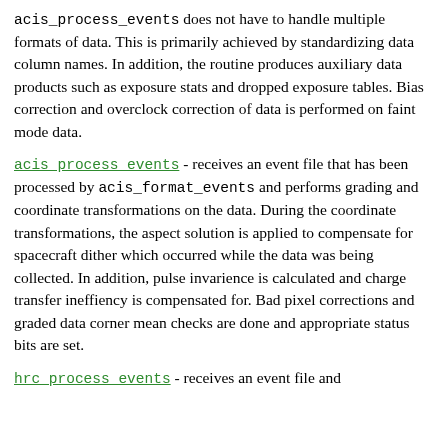acis_process_events does not have to handle multiple formats of data. This is primarily achieved by standardizing data column names. In addition, the routine produces auxiliary data products such as exposure stats and dropped exposure tables. Bias correction and overclock correction of data is performed on faint mode data.
acis process events - receives an event file that has been processed by acis_format_events and performs grading and coordinate transformations on the data. During the coordinate transformations, the aspect solution is applied to compensate for spacecraft dither which occurred while the data was being collected. In addition, pulse invarience is calculated and charge transfer ineffiency is compensated for. Bad pixel corrections and graded data corner mean checks are done and appropriate status bits are set.
hrc process events - receives an event file and